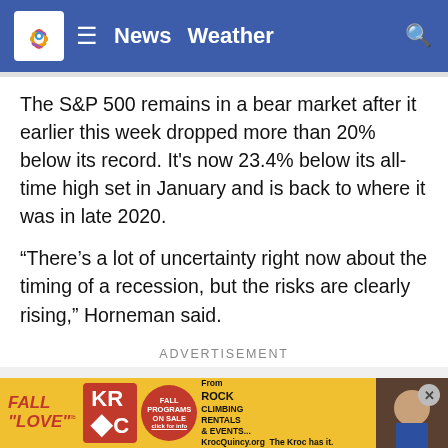News  Weather
The S&P 500 remains in a bear market after it earlier this week dropped more than 20% below its record. It's now 23.4% below its all-time high set in January and is back to where it was in late 2020.
“There’s a lot of uncertainty right now about the timing of a recession, but the risks are clearly rising,” Horneman said.
ADVERTISEMENT
On Wednesday, the Fed hiked its key short-term interest rate by  since 1  at its